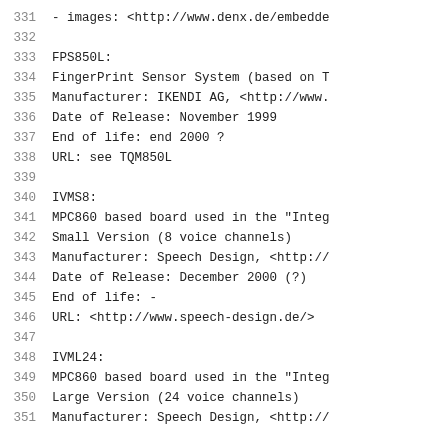331    - images: <http://www.denx.de/embedde
332
333    FPS850L:
334    FingerPrint Sensor System (based on T
335    Manufacturer: IKENDI AG, <http://www.
336    Date of Release: November 1999
337    End of life: end 2000 ?
338    URL: see TQM850L
339
340    IVMS8:
341    MPC860 based board used in the "Integ
342    Small Version (8 voice channels)
343    Manufacturer: Speech Design, <http://
344    Date of Release: December 2000 (?)
345    End of life: -
346    URL: <http://www.speech-design.de/>
347
348    IVML24:
349    MPC860 based board used in the "Integ
350    Large Version (24 voice channels)
351    Manufacturer: Speech Design, <http://